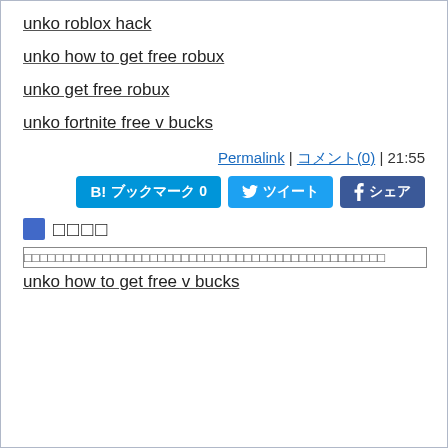unko roblox hack
unko how to get free robux
unko get free robux
unko fortnite free v bucks
Permalink | コメント(0) | 21:55
[Figure (other): Social share buttons: B! ブックマーク 0, ツイート, シェア]
□□□□
□□□□□□□□□□□□□□□□□□□□□□□□□□□□□□□□□□□□□□□□□□□□□□
unko how to get free v bucks